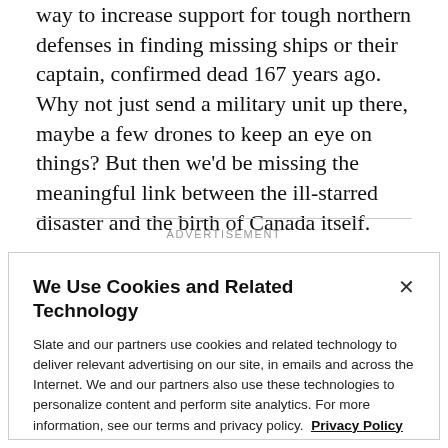way to increase support for tough northern defenses in finding missing ships or their captain, confirmed dead 167 years ago. Why not just send a military unit up there, maybe a few drones to keep an eye on things? But then we'd be missing the meaningful link between the ill-starred disaster and the birth of Canada itself.
ADVERTISEMENT
We Use Cookies and Related Technology
Slate and our partners use cookies and related technology to deliver relevant advertising on our site, in emails and across the Internet. We and our partners also use these technologies to personalize content and perform site analytics. For more information, see our terms and privacy policy. Privacy Policy
OK